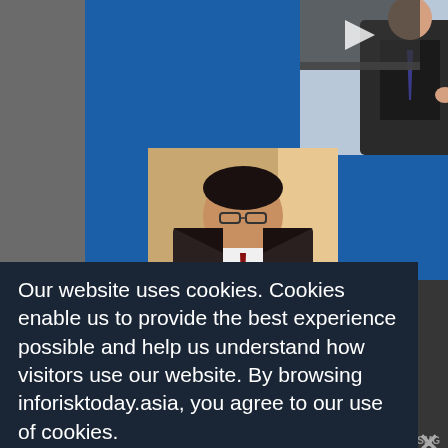[Figure (screenshot): Website screenshot with cookie consent overlay. Top portion shows a blue background with photo collage of two speakers at a conference/event. A cookie notice overlay covers the lower-left portion of the page reading: 'Our website uses cookies. Cookies enable us to provide the best experience possible and help us understand how visitors use our website. By browsing inforisktoday.asia, you agree to our use of cookies.' A dark navy background is behind the cookie text. An X close button appears at right. Behind/below shows partial page content including 'VIEW COURSE LIBRARY' link, 'LATEST NEWS AND MENTIONS' heading, and news article text referencing ISMG_News and security topics. SMG logo visible bottom right.]
Our website uses cookies. Cookies enable us to provide the best experience possible and help us understand how visitors use our website. By browsing inforisktoday.asia, you agree to our use of cookies.
VIEW COURSE LIBRARY
LATEST NEWS AND MENTIONS
ISMG_Ne...
The scope of ...security's offerings has expanded to include assessing exposure not only
SMG